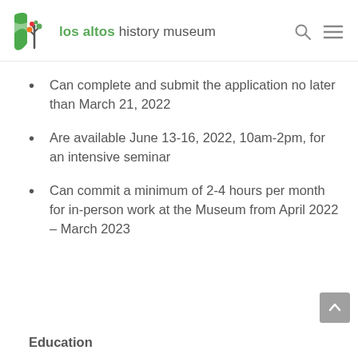los altos history museum
Can complete and submit the application no later than March 21, 2022
Are available June 13-16, 2022, 10am-2pm, for an intensive seminar
Can commit a minimum of 2-4 hours per month for in-person work at the Museum from April 2022 – March 2023
Education